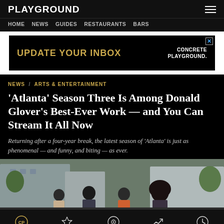PLAYGROUND
HOME  NEWS  GUIDES  RESTAURANTS  BARS
[Figure (screenshot): Advertisement banner: UPDATE YOUR INBOX — CONCRETE PLAYGROUND.]
NEWS  ARTS & ENTERTAINMENT
'Atlanta' Season Three Is Among Donald Glover's Best-Ever Work — and You Can Stream It All Now
Returning after a four-year break, the latest season of 'Atlanta' is just as phenomenal — and funny, and biting — as ever.
[Figure (photo): Four cast members of Atlanta TV show standing outdoors in front of buildings.]
Home  Featured  Nearby  Popular  Latest